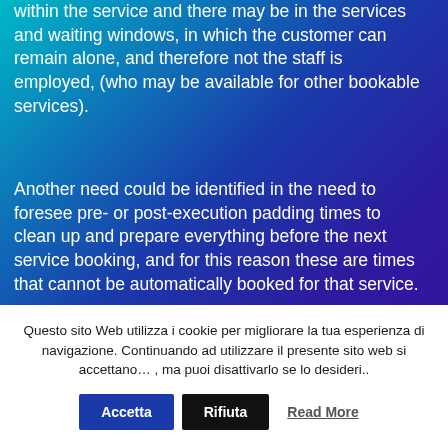within the service and there may be in the services and waiting windows, in which the customer can remain alone, and therefore not the staff is employed, (who may be available for other bookable services).
Another need could be identified in the need to foresee pre- or post-execution padding times to clean up and prepare everything before the next service booking, and for this reason these are times that cannot be automatically booked for that service.
Create NOW! Your reservation center
Questo sito Web utilizza i cookie per migliorare la tua esperienza di navigazione. Continuando ad utilizzare il presente sito web si accettano… , ma puoi disattivarlo se lo desideri..